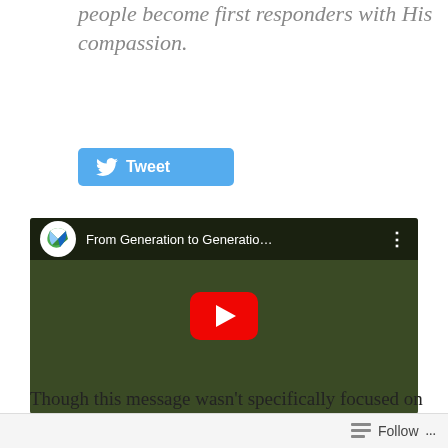people become first responders with His compassion.
[Figure (screenshot): Twitter Tweet button with bird logo]
[Figure (screenshot): YouTube video embed showing 'From Generation to Generatio...' with a man in a blue shirt gesturing, with a green channel logo and red play button overlay]
Though this message wasn’t specifically focused on
Follow ...